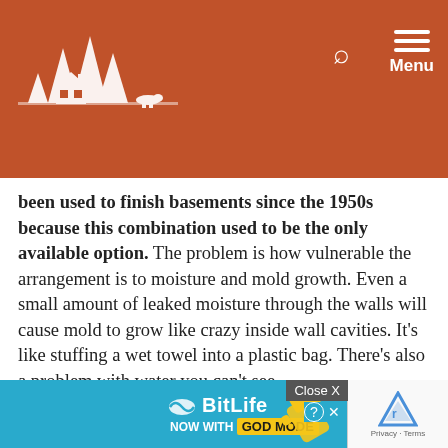Website header with logo, search icon, and Menu
been used to finish basements since the 1950s because this combination used to be the only available option. The problem is how vulnerable the arrangement is to moisture and mold growth. Even a small amount of leaked moisture through the walls will cause mold to grow like crazy inside wall cavities. It's like stuffing a wet towel into a plastic bag. There's also a problem with water you can't see.
I regularly hear from readers who have basement stud walls and vapour barrier installed, but no drywall yet for a while. They can see through the clear vapour barrier and are rightly concerned about condensation... on the vapour barrier...
[Figure (screenshot): Advertisement banner: BitLife NOW WITH GOD MODE with Close X button and reCAPTCHA logo]